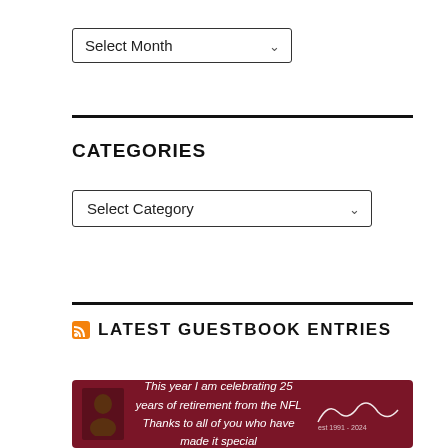[Figure (screenshot): Dropdown selector labeled 'Select Month' with a down-arrow chevron]
CATEGORIES
[Figure (screenshot): Dropdown selector labeled 'Select Category' with a down-arrow chevron]
LATEST GUESTBOOK ENTRIES
[Figure (banner): Dark red banner with a person's photo on the left, centered italic text 'This year I am celebrating 25 years of retirement from the NFL / Thanks to all of you who have made it special', and a signature on the right.]